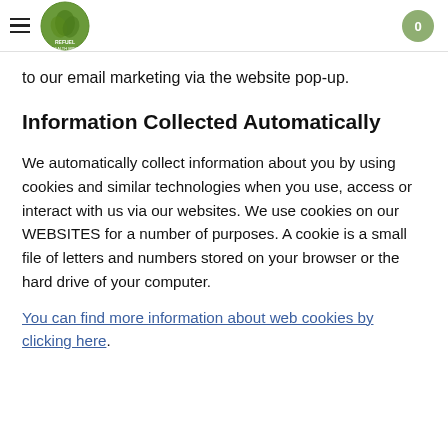Navigation header with logo and cart
to our email marketing via the website pop-up.
Information Collected Automatically
We automatically collect information about you by using cookies and similar technologies when you use, access or interact with us via our websites. We use cookies on our WEBSITES for a number of purposes. A cookie is a small file of letters and numbers stored on your browser or the hard drive of your computer.
You can find more information about web cookies by clicking here.